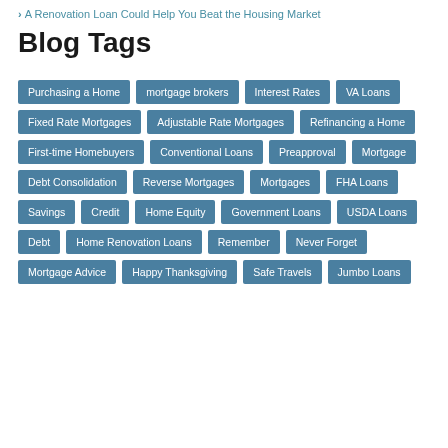> A Renovation Loan Could Help You Beat the Housing Market
Blog Tags
Purchasing a Home
mortgage brokers
Interest Rates
VA Loans
Fixed Rate Mortgages
Adjustable Rate Mortgages
Refinancing a Home
First-time Homebuyers
Conventional Loans
Preapproval
Mortgage
Debt Consolidation
Reverse Mortgages
Mortgages
FHA Loans
Savings
Credit
Home Equity
Government Loans
USDA Loans
Debt
Home Renovation Loans
Remember
Never Forget
Mortgage Advice
Happy Thanksgiving
Safe Travels
Jumbo Loans